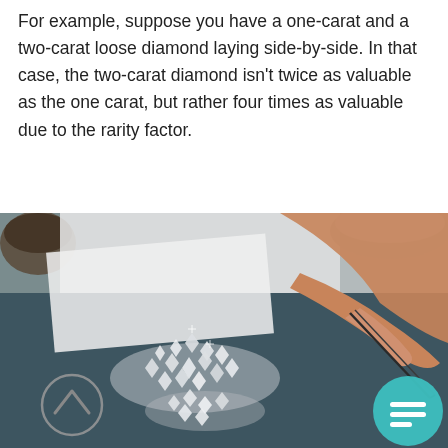For example, suppose you have a one-carat and a two-carat loose diamond laying side-by-side. In that case, the two-carat diamond isn't twice as valuable as the one carat, but rather four times as valuable due to the rarity factor.
[Figure (photo): A hand using tweezers to sort loose diamonds on a dark blue surface, with piles of small sparkling diamonds visible.]